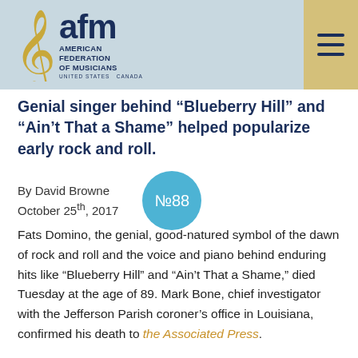AFM American Federation of Musicians United States Canada
Genial singer behind “Blueberry Hill” and “Ain’t That a Shame” helped popularize early rock and roll.
By David Browne
October 25th, 2017
[Figure (other): Teal circular badge with text № 88]
Fats Domino, the genial, good-natured symbol of the dawn of rock and roll and the voice and piano behind enduring hits like “Blueberry Hill” and “Ain’t That a Shame,” died Tuesday at the age of 89. Mark Bone, chief investigator with the Jefferson Parish coroner’s office in Louisiana, confirmed his death to the Associated Press.